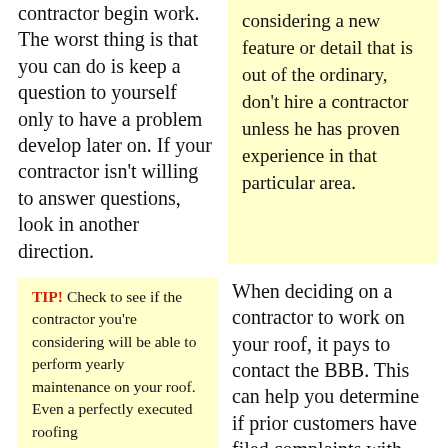contractor begin work. The worst thing is that you can do is keep a question to yourself only to have a problem develop later on. If your contractor isn't willing to answer questions, look in another direction.
considering a new feature or detail that is out of the ordinary, don't hire a contractor unless he has proven experience in that particular area.
TIP! Check to see if the contractor you're considering will be able to perform yearly maintenance on your roof. Even a perfectly executed roofing
When deciding on a contractor to work on your roof, it pays to contact the BBB. This can help you determine if prior customers have filed complaints with your prospective contractors. You need to